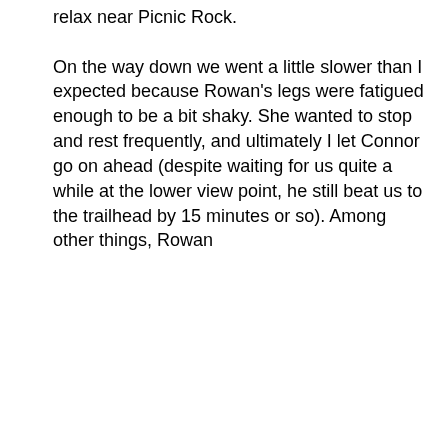relax near Picnic Rock.

On the way down we went a little slower than I expected because Rowan's legs were fatigued enough to be a bit shaky. She wanted to stop and rest frequently, and ultimately I let Connor go on ahead (despite waiting for us quite a while at the lower view point, he still beat us to the trailhead by 15 minutes or so). Among other things, Rowan